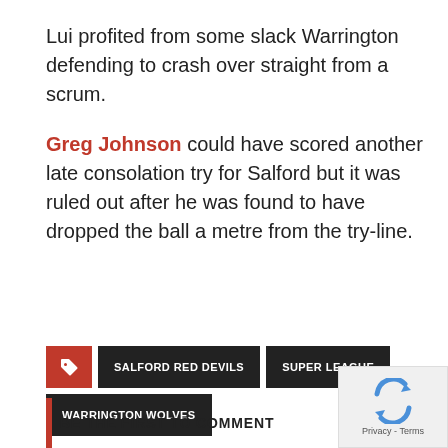Lui profited from some slack Warrington defending to crash over straight from a scrum.
Greg Johnson could have scored another late consolation try for Salford but it was ruled out after he was found to have dropped the ball a metre from the try-line.
SALFORD RED DEVILS
SUPER LEAGUE
WARRINGTON WOLVES
BE THE FIRST TO COMMENT